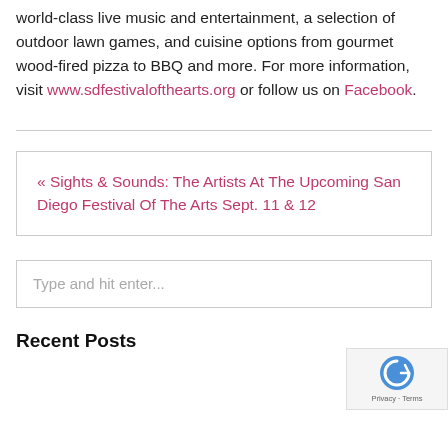world-class live music and entertainment, a selection of outdoor lawn games, and cuisine options from gourmet wood-fired pizza to BBQ and more. For more information, visit www.sdfestivalofthearts.org or follow us on Facebook.
« Sights & Sounds: The Artists At The Upcoming San Diego Festival Of The Arts Sept. 11 & 12
Type and hit enter...
Recent Posts